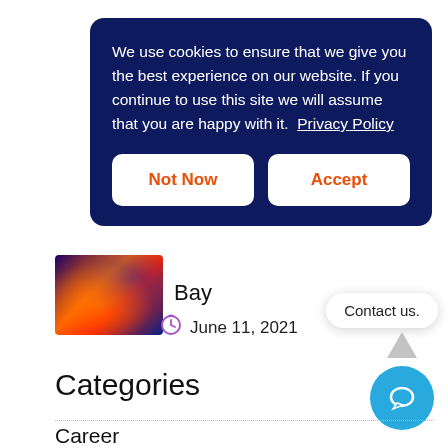We use cookies to ensure that we give you the best experience on our website. If you continue to use this site we will assume that you are happy with it.  Privacy Policy
Not Now
Accept
[Figure (photo): Colorful abstract thumbnail image with orange, red and blue tones]
Bay
June 11, 2021
Contact us.
Categories
Career